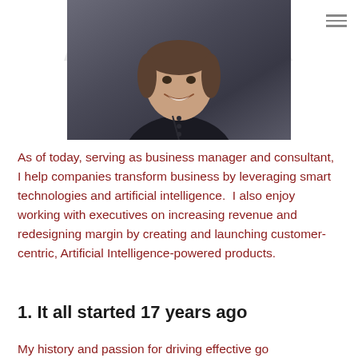[Figure (photo): Portrait photo of a smiling man in a dark button-up shirt against a grey wall background]
As of today, serving as business manager and consultant, I help companies transform business by leveraging smart technologies and artificial intelligence.  I also enjoy working with executives on increasing revenue and redesigning margin by creating and launching customer-centric, Artificial Intelligence-powered products.
1. It all started 17 years ago
My history and passion for driving effective go...